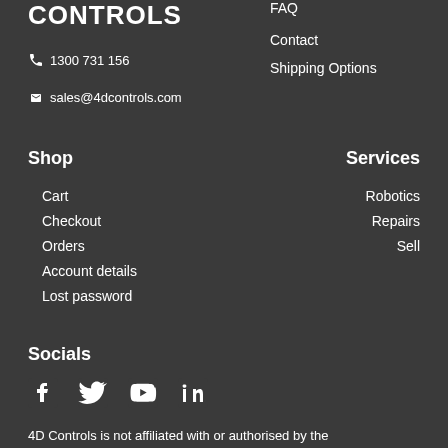CONTROLS
1300 731 156
sales@4dcontrols.com
FAQ
Contact
Shipping Options
Shop
Services
Cart
Checkout
Orders
Account details
Lost password
Robotics
Repairs
Sell
Socials
[Figure (illustration): Social media icons: Facebook, Twitter, YouTube, LinkedIn]
4D Controls is not affiliated with or authorised by the